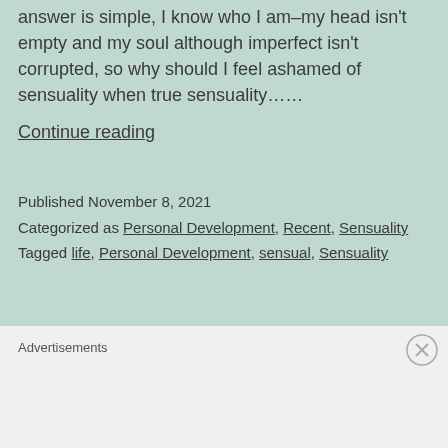answer is simple, I know who I am–my head isn't empty and my soul although imperfect isn't corrupted, so why should I feel ashamed of sensuality when true sensuality……
Continue reading
Published November 8, 2021
Categorized as Personal Development, Recent, Sensuality
Tagged life, Personal Development, sensual, Sensuality
Advertisements